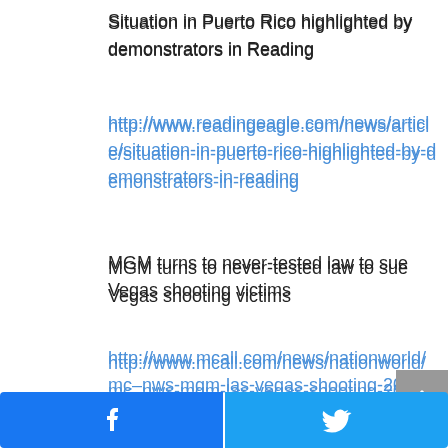Situation in Puerto Rico highlighted by demonstrators in Reading
http://www.readingeagle.com/news/article/situation-in-puerto-rico-highlighted-by-demonstrators-in-reading
MGM turns to never-tested law to sue Vegas shooting victims
http://www.mcall.com/news/nationworld/mc–nws-mgm-las-vegas-shooting-20180720-story.html
Natural Gas
As infrastructure is completed, more efficient movement of gas to market to boost industry